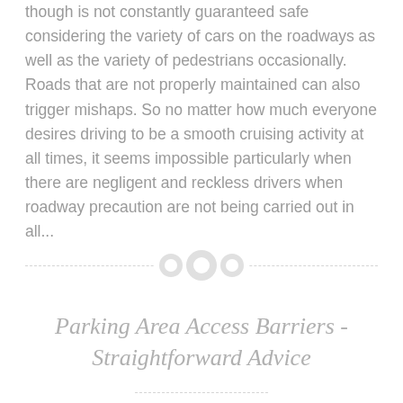though is not constantly guaranteed safe considering the variety of cars on the roadways as well as the variety of pedestrians occasionally. Roads that are not properly maintained can also trigger mishaps. So no matter how much everyone desires driving to be a smooth cruising activity at all times, it seems impossible particularly when there are negligent and reckless drivers when roadway precaution are not being carried out in all...
[Figure (other): Decorative divider with three overlapping circles on a dashed horizontal line]
Parking Area Access Barriers - Straightforward Advice